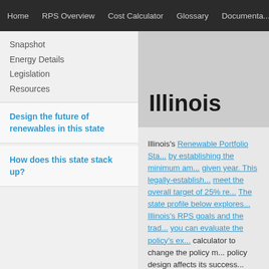Home | RPS Overview | Cost Calculator | Glossary | Documentation
Snapshot
Energy Details
Legislation
Resources
Design the future of renewables in this state
How does this state stack up?
Illinois
Illinois's Renewable Portfolio Standard works by establishing the minimum amount of renewable energy that must be generated in a given year. This legally-established schedule is designed to meet the overall target of 25% renewable energy by 2025. The state profile below explores the current status of Illinois's RPS goals and the tradeoffs involved so you can evaluate the policy's existing design. Use the calculator to change the policy mechanisms and see how policy design affects its success.